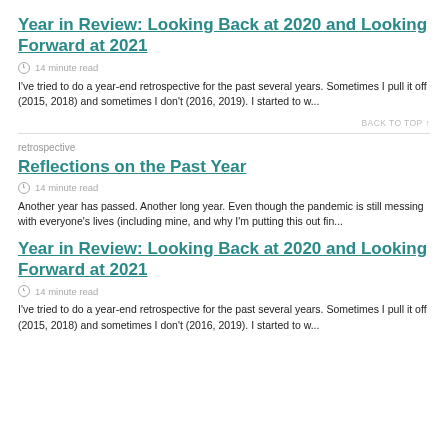Year in Review: Looking Back at 2020 and Looking Forward at 2021
14 minute read
I've tried to do a year-end retrospective for the past several years. Sometimes I pull it off (2015, 2018) and sometimes I don't (2016, 2019). I started to w...
BACK TO TOP ↑
retrospective
Reflections on the Past Year
14 minute read
Another year has passed. Another long year. Even though the pandemic is still messing with everyone's lives (including mine, and why I'm putting this out fin...
Year in Review: Looking Back at 2020 and Looking Forward at 2021
14 minute read
I've tried to do a year-end retrospective for the past several years. Sometimes I pull it off (2015, 2018) and sometimes I don't (2016, 2019). I started to w...